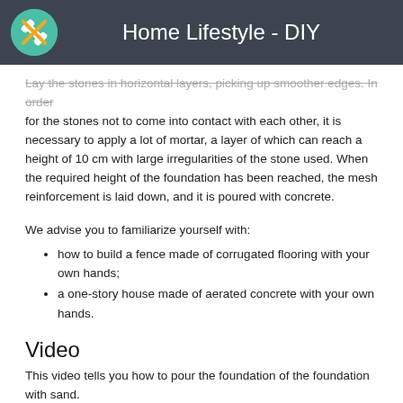Home Lifestyle - DIY
Lay the stones in horizontal layers, picking up smoother edges. In order for the stones not to come into contact with each other, it is necessary to apply a lot of mortar, a layer of which can reach a height of 10 cm with large irregularities of the stone used. When the required height of the foundation has been reached, the mesh reinforcement is laid down, and it is poured with concrete.
We advise you to familiarize yourself with:
how to build a fence made of corrugated flooring with your own hands;
a one-story house made of aerated concrete with your own hands.
Video
This video tells you how to pour the foundation of the foundation with sand.